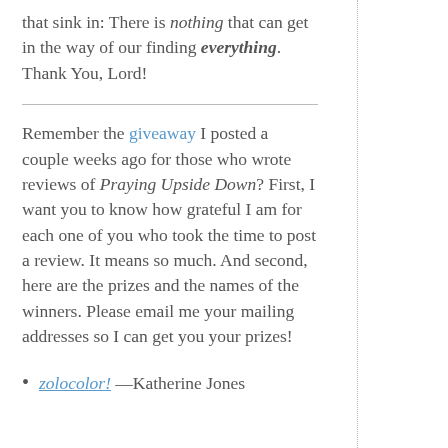that sink in: There is nothing that can get in the way of our finding everything. Thank You, Lord!
Remember the giveaway I posted a couple weeks ago for those who wrote reviews of Praying Upside Down? First, I want you to know how grateful I am for each one of you who took the time to post a review. It means so much. And second, here are the prizes and the names of the winners. Please email me your mailing addresses so I can get you your prizes!
zolocolor! —Katherine Jones